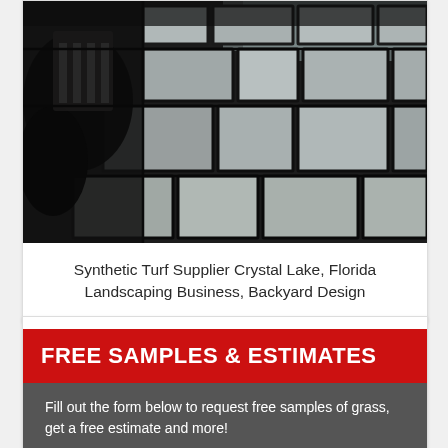[Figure (photo): Aerial/overhead view of a stone paver patio with irregular flagstone pavers in grey tones, surrounded by dark grout lines. Vegetation visible on the left side and pool area at top right.]
Synthetic Turf Supplier Crystal Lake, Florida Landscaping Business, Backyard Design
[Figure (infographic): Promotional banner with red background showing 'FREE SAMPLES & ESTIMATES' in bold white text, followed by a dark grey section with white text reading 'Fill out the form below to request free samples of grass, get a free estimate and more!']